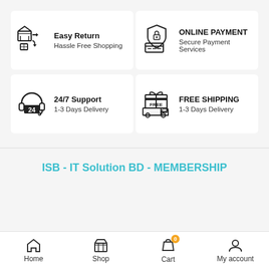[Figure (infographic): Easy Return feature card with store/return icon, title 'Easy Return', subtitle 'Hassle Free Shopping']
[Figure (infographic): Online Payment feature card with credit card and shield icon, title 'ONLINE PAYMENT', subtitle 'Secure Payment Services']
[Figure (infographic): 24/7 Support feature card with headset icon, title '24/7 Support', subtitle '1-3 Days Delivery']
[Figure (infographic): Free Shipping feature card with delivery truck icon, title 'FREE SHIPPING', subtitle '1-3 Days Delivery']
ISB - IT Solution BD - MEMBERSHIP
Home  Shop  Cart  My account